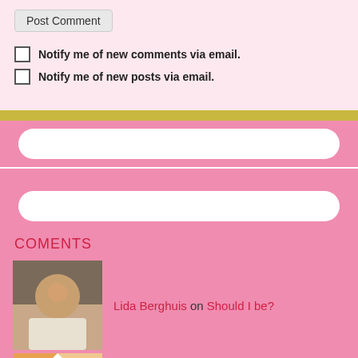Post Comment
Notify me of new comments via email.
Notify me of new posts via email.
COMENTS
Lida Berghuis on Should I be?
Monir on Should I be?